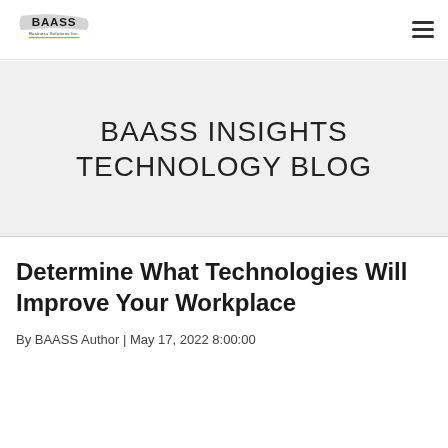BAASS Business Solutions Inc. — navigation bar with logo and hamburger menu
BAASS INSIGHTS TECHNOLOGY BLOG
Determine What Technologies Will Improve Your Workplace
By BAASS Author | May 17, 2022 8:00:00